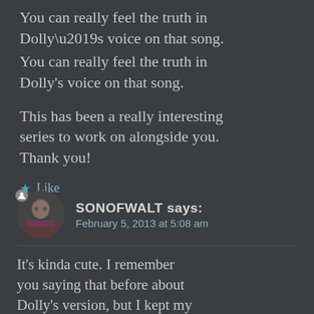You can really feel the truth in Dolly’s voice on that song.
This has been a really interesting series to work on alongside you. Thank you!
★ Like
SONOFWALT says:
February 5, 2013 at 5:08 am
It’s kinda cute. I remember you saying that before about Dolly’s version, but I kept my mouth shut. 😠 tee hee. I wish I